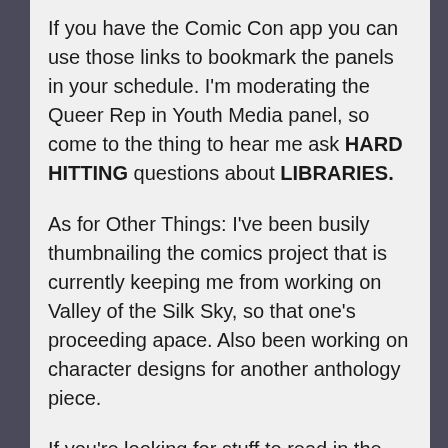If you have the Comic Con app you can use those links to bookmark the panels in your schedule. I'm moderating the Queer Rep in Youth Media panel, so come to the thing to hear me ask HARD HITTING questions about LIBRARIES.
As for Other Things: I've been busily thumbnailing the comics project that is currently keeping me from working on Valley of the Silk Sky, so that one's proceeding apace. Also been working on character designs for another anthology piece.
If you're looking for stuff to read in the meantime, you can always hit up my Patreon. For the next few months I'll be serializing my Valley of the Silk Sky story from Beyond, and including world-building commentary. A mere